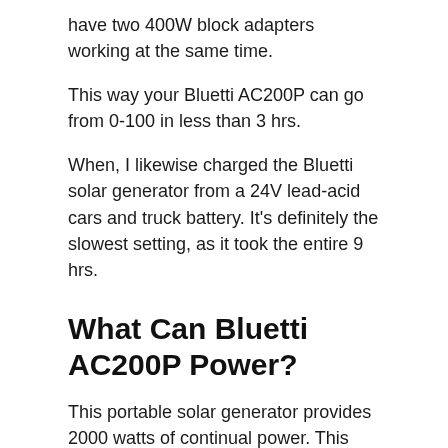have two 400W block adapters working at the same time.
This way your Bluetti AC200P can go from 0-100 in less than 3 hrs.
When, I likewise charged the Bluetti solar generator from a 24V lead-acid cars and truck battery. It's definitely the slowest setting, as it took the entire 9 hrs.
What Can Bluetti AC200P Power?
This portable solar generator provides 2000 watts of continual power. This suggests you can, for example, plug in a 100 watt computer